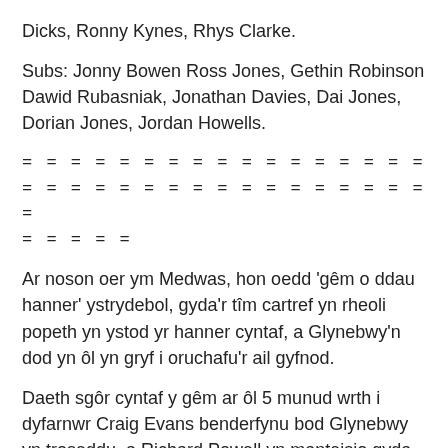Dicks, Ronny Kynes, Rhys Clarke.
Subs: Jonny Bowen Ross Jones, Gethin Robinson Dawid Rubasniak, Jonathan Davies, Dai Jones, Dorian Jones, Jordan Howells.
= = = = = = = = = = = = = = = = = = = = = = = = = = = = = = = = = = =
= = = = =
Ar noson oer ym Medwas, hon oedd 'gêm o ddau hanner' ystrydebol, gyda'r tîm cartref yn rheoli popeth yn ystod yr hanner cyntaf, a Glynebwy'n dod yn ôl yn gryf i oruchafu'r ail gyfnod.
Daeth sgôr cyntaf y gêm ar ôl 5 munud wrth i dyfarnwr Craig Evans benderfynu bod Glynebwy  yn troseddu, a Richard Powell yn manteisio gyda chic cosb o 15 medr. Estynwyd mantais Bedwas gan, poini Mike Gallowy a dderbynnodd boc gan Robert